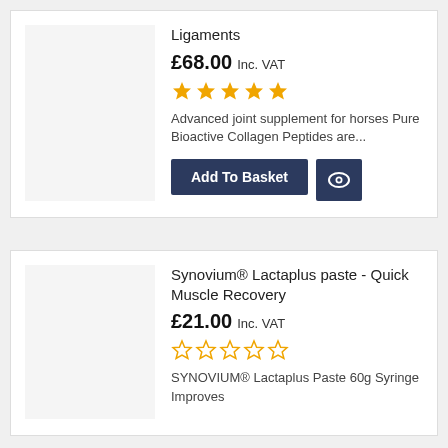Ligaments
£68.00 Inc. VAT
[Figure (other): 5 filled gold star rating]
Advanced joint supplement for horses Pure Bioactive Collagen Peptides are...
Add To Basket
Synovium® Lactaplus paste - Quick Muscle Recovery
£21.00 Inc. VAT
[Figure (other): 5 empty gold star rating]
SYNOVIUM® Lactaplus Paste 60g Syringe Improves